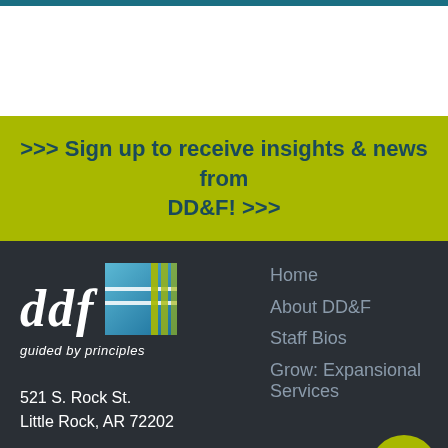>>> Sign up to receive insights & news from DD&F! >>>
[Figure (logo): DDF 'guided by principles' logo with graphic icon in blue/teal and lime green]
521 S. Rock St.
Little Rock, AR 72202
Home
About DD&F
Staff Bios
Grow: Expansional Services
[Figure (illustration): Lime green circular phone call button icon]